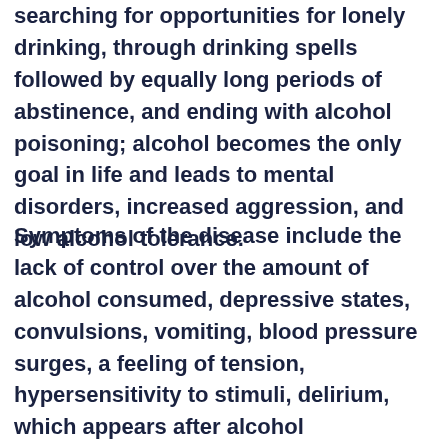searching for opportunities for lonely drinking, through drinking spells followed by equally long periods of abstinence, and ending with alcohol poisoning; alcohol becomes the only goal in life and leads to mental disorders, increased aggression, and low alcohol tolerance.
Symptoms of the disease include the lack of control over the amount of alcohol consumed, depressive states, convulsions, vomiting, blood pressure surges, a feeling of tension, hypersensitivity to stimuli, delirium, which appears after alcohol consumption is limited or stopped, lack of awareness, confusion and memory loss. The sooner you receive the help offered by the addiction treatment center, the